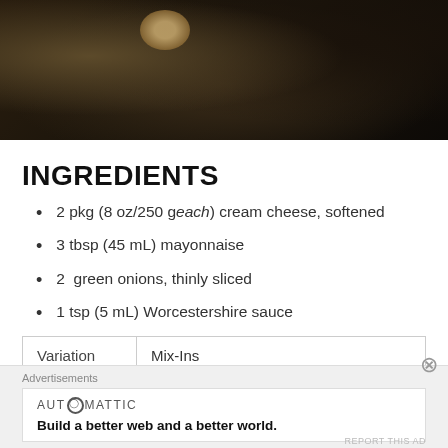[Figure (photo): Food photography showing a cheese ball or appetizer on a wooden board with small dark bowls, viewed from above on a dark wood surface.]
INGREDIENTS
2 pkg (8 oz/250 g each) cream cheese, softened
3 tbsp (45 mL) mayonnaise
2  green onions, thinly sliced
1 tsp (5 mL) Worcestershire sauce
| Variation | Mix-Ins |
| --- | --- |
|  | 2 oz (60 g) Monterey Jack cheese with |
Advertisements
AUTOMATTIC
Build a better web and a better world.